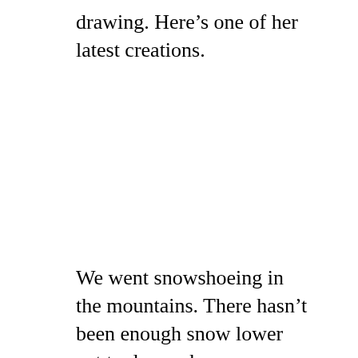drawing. Here’s one of her latest creations.
We went snowshoeing in the mountains. There hasn’t been enough snow lower yet to do much